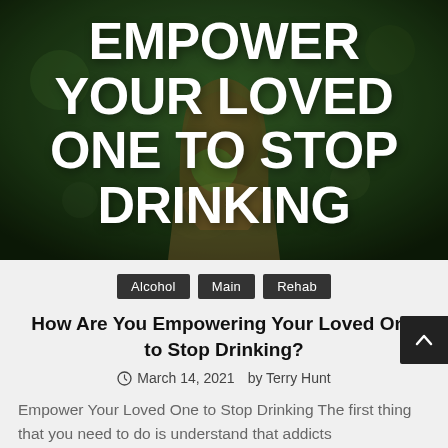[Figure (photo): Woman with long blonde hair holding a green leaf/plant in front of a dark green blurred background. Large white bold uppercase text overlaid: EMPOWER YOUR LOVED ONE TO STOP DRINKING]
EMPOWER YOUR LOVED ONE TO STOP DRINKING
Alcohol   Main   Rehab
How Are You Empowering Your Loved One to Stop Drinking?
March 14, 2021   by Terry Hunt
Empower Your Loved One to Stop Drinking The first thing that you need to do is understand that addicts